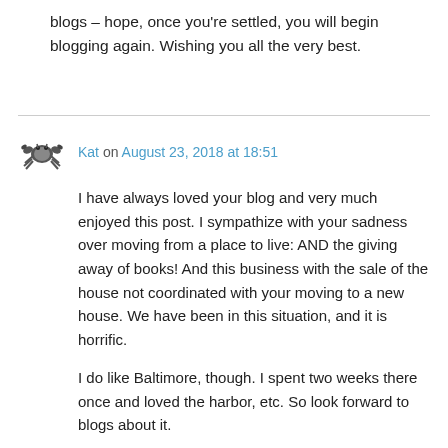blogs – hope, once you're settled, you will begin blogging again. Wishing you all the very best.
Kat on August 23, 2018 at 18:51
I have always loved your blog and very much enjoyed this post. I sympathize with your sadness over moving from a place to live: AND the giving away of books! And this business with the sale of the house not coordinated with your moving to a new house. We have been in this situation, and it is horrific.
I do like Baltimore, though. I spent two weeks there once and loved the harbor, etc. So look forward to blogs about it.